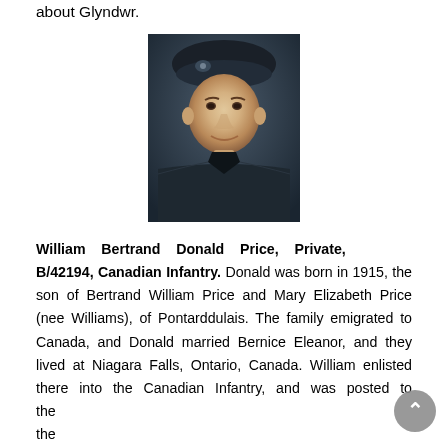about Glyndwr.
[Figure (photo): Black and white portrait photograph of a young man in Canadian military uniform with a beret/cap, smiling slightly.]
William Bertrand Donald Price, Private, B/42194, Canadian Infantry. Donald was born in 1915, the son of Bertrand William Price and Mary Elizabeth Price (nee Williams), of Pontarddulais. The family emigrated to Canada, and Donald married Bernice Eleanor, and they lived at Niagara Falls, Ontario, Canada. William enlisted there into the Canadian Infantry, and was posted to the Aberma... Regiment, which was later to England in...